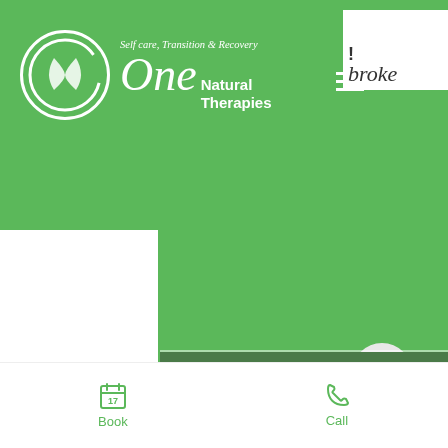[Figure (screenshot): Mobile website screenshot of One Natural Therapies. Green header with logo (circle with 'One' text, tagline 'Self care, Transition & Recovery', 'Natural Therapies' text). Hamburger menu icon. Partial white card overlapping top-right and left side. Large green content area. Scroll-to-top button (chevron up). Bottom navigation bar with Book (calendar icon) and Call (phone icon) buttons in green.]